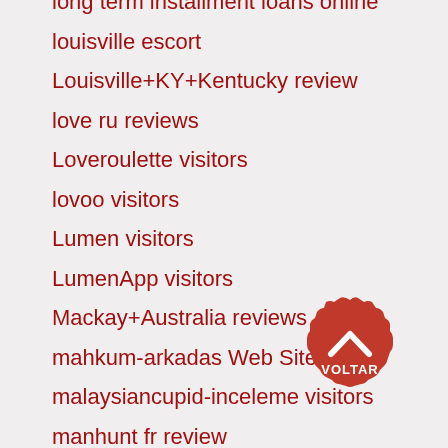long term installment loans online
louisville escort
Louisville+KY+Kentucky review
love ru reviews
Loveroulette visitors
lovoo visitors
Lumen visitors
LumenApp visitors
Mackay+Australia reviews
mahkum-arkadas Web Siteleri
malaysiancupid-inceleme visitors
manhunt fr review
Manhunt visitors
Married Hookup Apps review
[Figure (other): Red badge button with upward chevron arrow and text VOLTAR]